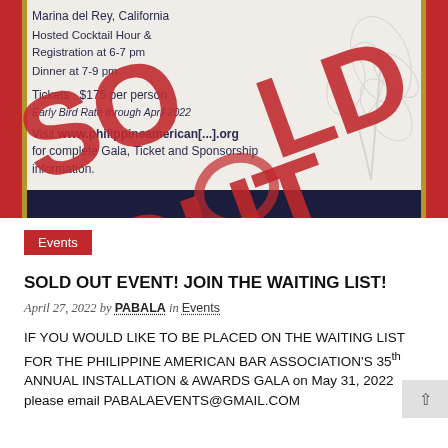[Figure (photo): Event flyer partially visible with 'SOLD OUT' stamp overlaid in large red letters. Flyer text includes: 'Marina del Rey, California', 'Hosted Cocktail Hour & Registration at 6-7 pm', 'Dinner at 7-9 pm', 'Tickets · $175 per person', 'Early Bird Rate through April 2022', 'Visit www.philippineamerican[...].org for complete Gala, Ticket and Sponsorship information.' Red and gold side borders visible. Navy bar at bottom.]
Events
SOLD OUT EVENT! JOIN THE WAITING LIST!
April 27, 2022 by PABALA in Events
IF YOU WOULD LIKE TO BE PLACED ON THE WAITING LIST FOR THE PHILIPPINE AMERICAN BAR ASSOCIATION'S 35th ANNUAL INSTALLATION & AWARDS GALA on May 31, 2022 please email PABALAEVENTS@GMAIL.COM